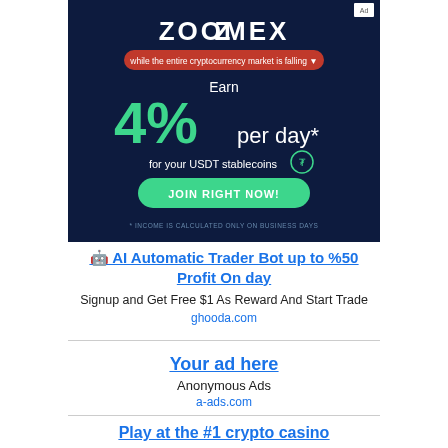[Figure (infographic): Zoomex cryptocurrency exchange advertisement banner on dark navy background. Shows logo 'ZOOMEX', red pill badge reading 'while the entire cryptocurrency market is falling', large green '4%' text with 'Earn per day*' text, 'for your USDT stablecoins' with Tether logo, green 'JOIN RIGHT NOW!' button, and disclaimer '* INCOME IS CALCULATED ONLY ON BUSINESS DAYS']
🤖 AI Automatic Trader Bot up to %50 Profit On day
Signup and Get Free $1 As Reward And Start Trade
ghooda.com
Your ad here
Anonymous Ads
a-ads.com
Play at the #1 crypto casino